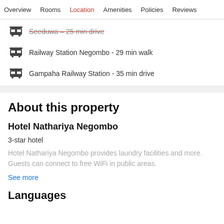Overview  Rooms  Location  Amenities  Policies  Reviews
Seeduwa – 25 min drive
Railway Station Negombo - 29 min walk
Gampaha Railway Station - 35 min drive
About this property
Hotel Nathariya Negombo
3-star hotel
Hotel Nathariya Negombo provides laundry facilities and more. Guests can connect to free WiFi in public areas.
See more
Languages